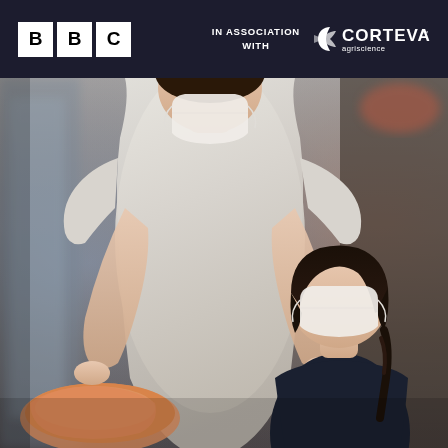BBC | IN ASSOCIATION WITH CORTEVA agriscience
[Figure (photo): A woman and a young child, both wearing white face masks, looking at an orange/peach coloured item (possibly shoes or a bag) in what appears to be a retail shop. The woman is wearing a light grey/white sleeveless dress and is leaning over towards the child who has dark bowl-cut hair. The background is blurred showing a shop environment.]